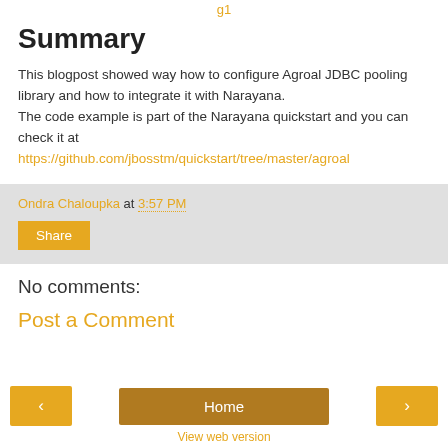g1
Summary
This blogpost showed way how to configure Agroal JDBC pooling library and how to integrate it with Narayana.
The code example is part of the Narayana quickstart and you can check it at
https://github.com/jbosstm/quickstart/tree/master/agroal
Ondra Chaloupka at 3:57 PM
Share
No comments:
Post a Comment
‹  Home  ›
View web version